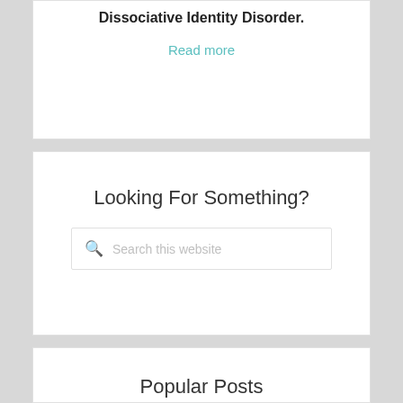Dissociative Identity Disorder.
Read more
Looking For Something?
Search this website
Popular Posts
Introjects – What are Introjects?